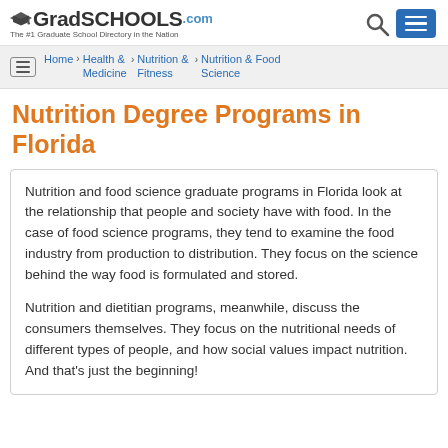GradSchools.com — The #1 Graduate School Directory in the Nation
Home > Health & Medicine > Nutrition & Fitness > Nutrition & Food Science
Nutrition Degree Programs in Florida
Nutrition and food science graduate programs in Florida look at the relationship that people and society have with food. In the case of food science programs, they tend to examine the food industry from production to distribution. They focus on the science behind the way food is formulated and stored.
Nutrition and dietitian programs, meanwhile, discuss the consumers themselves. They focus on the nutritional needs of different types of people, and how social values impact nutrition. And that's just the beginning!